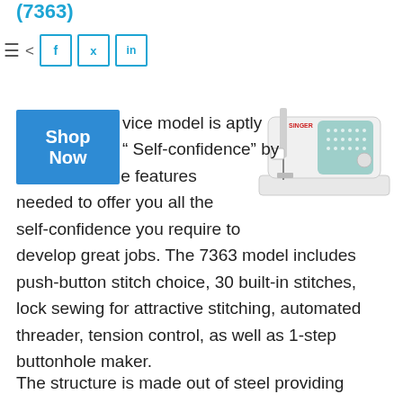(7363)
[Figure (screenshot): Social media share icons: hamburger menu, share icon, Facebook (f), Twitter (bird), LinkedIn (in) buttons in blue outlined squares]
[Figure (photo): White and mint green Singer sewing machine model 7363]
vice model is aptly " Self-confidence" by as it has all the features needed to offer you all the self-confidence you require to develop great jobs. The 7363 model includes push-button stitch choice, 30 built-in stitches, lock sewing for attractive stitching, automated threader, tension control, as well as 1-step buttonhole maker.
The structure is made out of steel providing